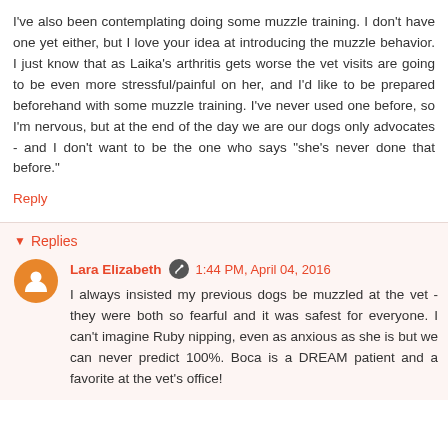I've also been contemplating doing some muzzle training. I don't have one yet either, but I love your idea at introducing the muzzle behavior. I just know that as Laika's arthritis gets worse the vet visits are going to be even more stressful/painful on her, and I'd like to be prepared beforehand with some muzzle training. I've never used one before, so I'm nervous, but at the end of the day we are our dogs only advocates - and I don't want to be the one who says "she's never done that before."
Reply
Replies
Lara Elizabeth · 1:44 PM, April 04, 2016
I always insisted my previous dogs be muzzled at the vet - they were both so fearful and it was safest for everyone. I can't imagine Ruby nipping, even as anxious as she is but we can never predict 100%. Boca is a DREAM patient and a favorite at the vet's office!